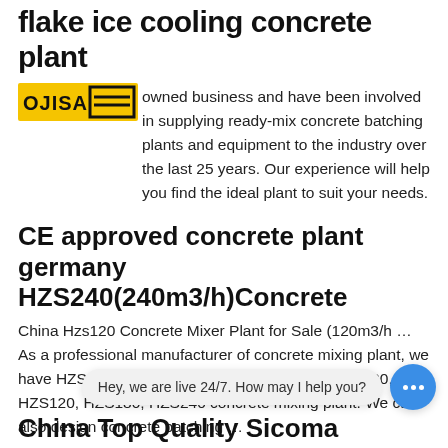flake ice cooling concrete plant
[Figure (logo): OJISA logo - yellow/black text in a rectangular badge]
owned business and have been involved in supplying ready-mix concrete batching plants and equipment to the industry over the last 25 years. Our experience will help you find the ideal plant to suit your needs.
CE approved concrete plant germany HZS240(240m3/h)Concrete
China Hzs120 Concrete Mixer Plant for Sale (120m3/h … As a professional manufacturer of concrete mixing plant, we have HZS25, HZS35, HZS50, HZS60, HZS75, HZS90, HZS120, HZS180, HZS240 concrete mixing plant. We can also design concrete batching …
Slat-China Slat Manufacturers & Suppliers
China Slat - Select 2020 Slat products from verified China Slat manufacturers, supp
Hey, we are live 24/7. How may I help you?
China Top Quality Sicoma